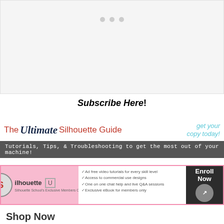[Figure (other): Image slider area with light gray background and three pagination dots]
Subscribe Here!
[Figure (infographic): The Ultimate Silhouette Guide banner with red and navy text on white background and gray bar with tutorials tagline]
[Figure (infographic): Silhouette U membership banner with pink border, logo, bullet points for features, and Enroll Now button]
Shop Now